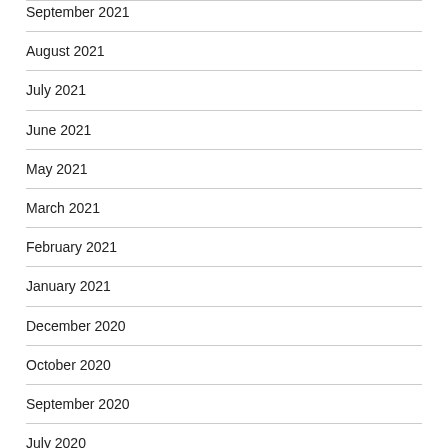September 2021
August 2021
July 2021
June 2021
May 2021
March 2021
February 2021
January 2021
December 2020
October 2020
September 2020
July 2020
June 2018
March 2018